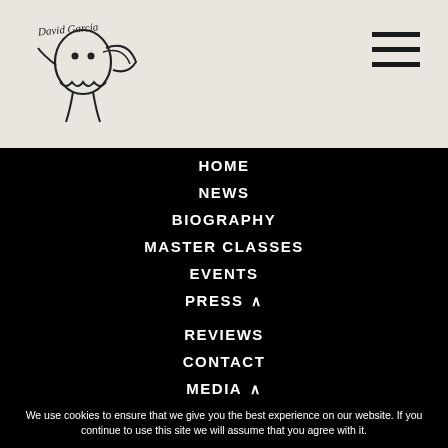[Figure (logo): Handwritten signature/logo with a ghost-like figure playing violin, on a beige/tan background]
HOME
NEWS
BIOGRAPHY
MASTER CLASSES
EVENTS
PRESS ∧
REVIEWS
CONTACT
MEDIA ∧
We use cookies to ensure that we give you the best experience on our website. If you continue to use this site we will assume that you agree with it.